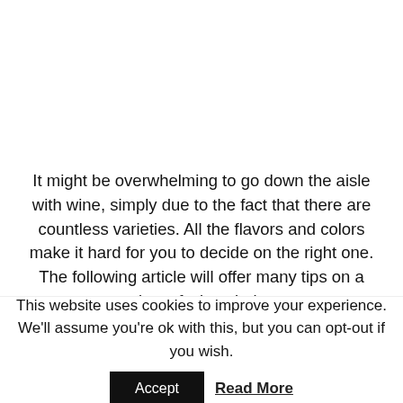It might be overwhelming to go down the aisle with wine, simply due to the fact that there are countless varieties. All the flavors and colors make it hard for you to decide on the right one. The following article will offer many tips on a variety of wine choices.
Pinot Grigio tastes great with seafood. A good wine
This website uses cookies to improve your experience. We'll assume you're ok with this, but you can opt-out if you wish.